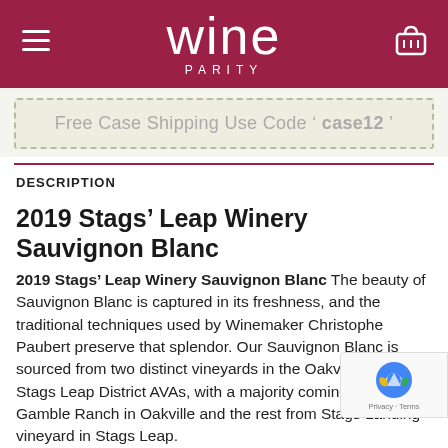wine PARITY
Free Case Shipping Use Code ' case12 '
DESCRIPTION
2019 Stags’ Leap Winery Sauvignon Blanc
2019 Stags’ Leap Winery Sauvignon Blanc The beauty of Sauvignon Blanc is captured in its freshness, and the traditional techniques used by Winemaker Christophe Paubert preserve that splendor. Our Sauvignon Blanc is sourced from two distinct vineyards in the Oakville and Stags Leap District AVAs, with a majority coming from Gamble Ranch in Oakville and the rest from Stags Landing vineyard in Stags Leap.
Stags’ Leap